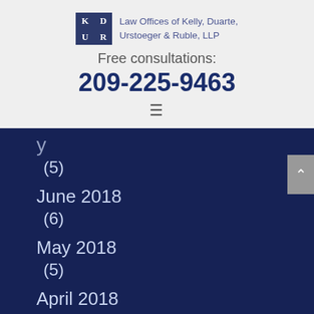[Figure (logo): Law Offices of Kelly, Duarte, Urstoeger & Ruble, LLP logo with KD UR initials in dark navy square]
Free consultations:
209-225-9463
[Figure (other): Hamburger menu icon (three horizontal lines)]
(5)
June 2018 (6)
May 2018 (5)
April 2018 (5)
March 2018 (truncated)